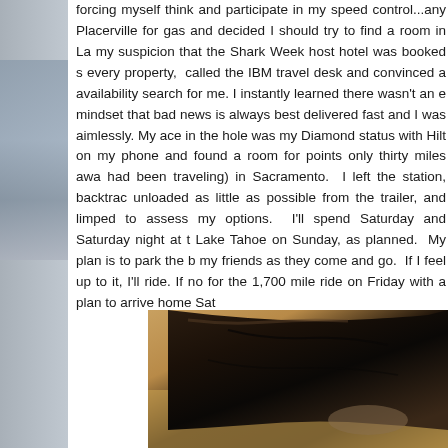forcing myself think and participate in my speed control...any Placerville for gas and decided I should try to find a room in La my suspicion that the Shark Week host hotel was booked s every property, called the IBM travel desk and convinced a availability search for me. I instantly learned there wasn't an e mindset that bad news is always best delivered fast and I was aimlessly. My ace in the hole was my Diamond status with Hilt on my phone and found a room for points only thirty miles awa had been traveling) in Sacramento. I left the station, backtrac unloaded as little as possible from the trailer, and limped to assess my options. I'll spend Saturday and Saturday night at t Lake Tahoe on Sunday, as planned. My plan is to park the b my friends as they come and go. If I feel up to it, I'll ride. If no for the 1,700 mile ride on Friday with a plan to arrive home Sat
[Figure (photo): A dark brown leather jacket or bag resting on what appears to be a golden/tan fabric surface or cushion]